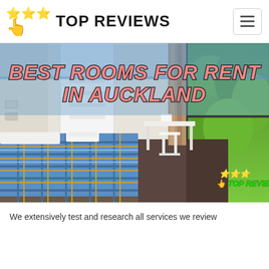TOP REVIEWS
[Figure (photo): A bedroom for rent showing a single bed with blue plaid bedding, white shelving unit, white desk with chair, and a large window overlooking green trees. Overlay text reads 'BEST ROOMS FOR RENT IN AUCKLAND'. A 'TOP REVIEWS' watermark logo appears at bottom right.]
We extensively test and research all services we review